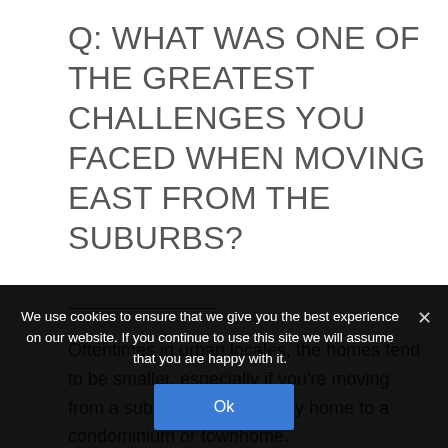Q: WHAT WAS ONE OF THE GREATEST CHALLENGES YOU FACED WHEN MOVING EAST FROM THE SUBURBS?
Oftentimes in urban locales, the homes tend to be smaller, especially if you're moving from a suburban single-family home to a condominium or townhome.
We use cookies to ensure that we give you the best experience on our website. If you continue to use this site we will assume that you are happy with it.